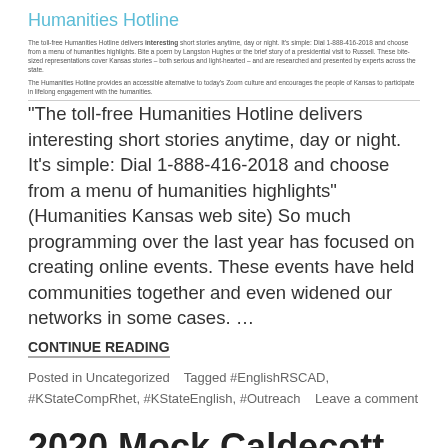Humanities Hotline
The toll-free Humanities Hotline delivers interesting short stories anytime, day or night. It's simple: Dial 1-888-416-2018 and choose from a menu of humanities highlights. Bite a poem by Langston Hughes or the brief story of a presidential visit to Russell. These bite-sized representations cover Kansas stories – both serious and light-hearted – and are researched and presented by experts across the state.
The Humanities Hotline provides an accessible alternative to today's Zoom culture and encourages the people of Kansas to participate in lifelong engagement with the humanities.
“The toll-free Humanities Hotline delivers interesting short stories anytime, day or night. It’s simple: Dial 1-888-416-2018 and choose from a menu of humanities highlights” (Humanities Kansas web site) So much programming over the last year has focused on creating online events. These events have held communities together and even widened our networks in some cases. ... CONTINUE READING
Posted in Uncategorized   Tagged #EnglishRSCAD, #KStateCompRhet, #KStateEnglish, #Outreach   Leave a comment
2020 Mock Caldecott